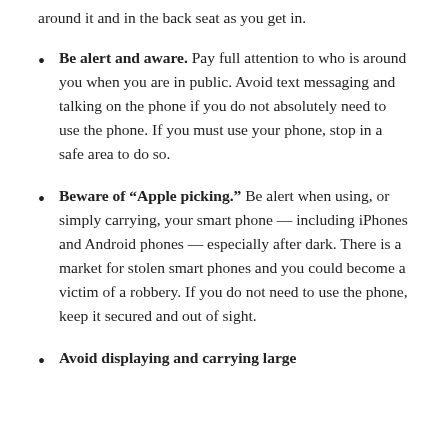around it and in the back seat as you get in.
Be alert and aware. Pay full attention to who is around you when you are in public. Avoid text messaging and talking on the phone if you do not absolutely need to use the phone. If you must use your phone, stop in a safe area to do so.
Beware of “Apple picking.” Be alert when using, or simply carrying, your smart phone — including iPhones and Android phones — especially after dark. There is a market for stolen smart phones and you could become a victim of a robbery. If you do not need to use the phone, keep it secured and out of sight.
Avoid displaying and carrying large